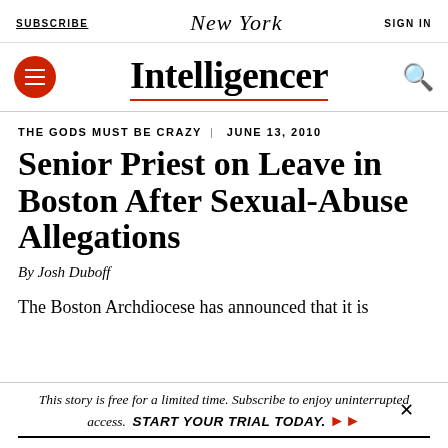SUBSCRIBE | New York | SIGN IN
Intelligencer
THE GODS MUST BE CRAZY | JUNE 13, 2010
Senior Priest on Leave in Boston After Sexual-Abuse Allegations
By Josh Duboff
The Boston Archdiocese has announced that it is
This story is free for a limited time. Subscribe to enjoy uninterrupted access. START YOUR TRIAL TODAY.